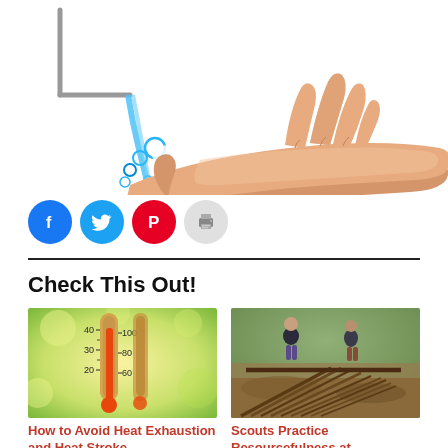[Figure (illustration): Illustration of water flowing from a faucet onto an outstretched open hand, with blue water droplets/bubbles splashing]
[Figure (infographic): Social share buttons: Facebook (blue circle), Twitter (blue circle), Pinterest (red circle), Print (gray circle)]
Check This Out!
[Figure (photo): Photo of a thermometer showing high temperature readings (40°C/100°F range) with sunny green bokeh background]
How to Avoid Heat Exhaustion and Heat Stroke
[Figure (photo): Photo of scouts building a shelter/lean-to structure from sticks and branches in a forest]
Scouts Practice Resourcefulness at